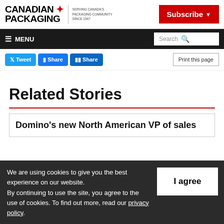CANADIAN PACKAGING — SERVING CANADA'S PACKAGING COMMUNITY SINCE 1947 | Subscribe
≡ MENU | Search
[Figure (screenshot): Social share buttons: Tweet, Share (Facebook), Share (LinkedIn), Print this page]
Related Stories
Domino's new North American VP of sales
We are using cookies to give you the best experience on our website. By continuing to use the site, you agree to the use of cookies. To find out more, read our privacy policy.
I agree